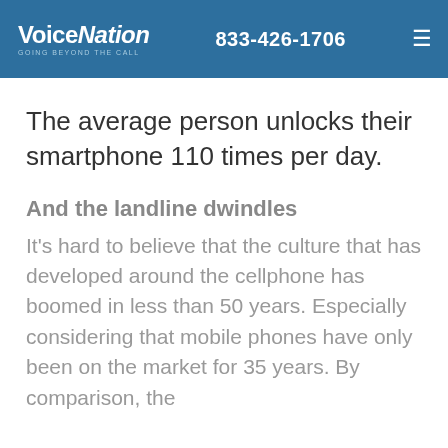VoiceNation GOING BEYOND THE CALL | 833-426-1706
The average person unlocks their smartphone 110 times per day.
And the landline dwindles
It's hard to believe that the culture that has developed around the cellphone has boomed in less than 50 years. Especially considering that mobile phones have only been on the market for 35 years. By comparison, the